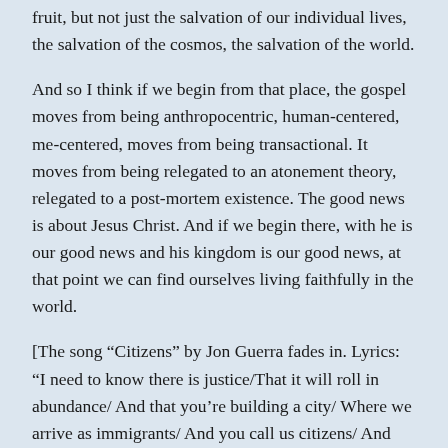fruit, but not just the salvation of our individual lives, the salvation of the cosmos, the salvation of the world.
And so I think if we begin from that place, the gospel moves from being anthropocentric, human-centered, me-centered, moves from being transactional. It moves from being relegated to an atonement theory, relegated to a post-mortem existence. The good news is about Jesus Christ. And if we begin there, with he is our good news and his kingdom is our good news, at that point we can find ourselves living faithfully in the world.
[The song “Citizens” by Jon Guerra fades in. Lyrics: “I need to know there is justice/That it will roll in abundance/ And that you’re building a city/ Where we arrive as immigrants/ And you call us citizens/ And you welcome us as children home.” The song fades out.]